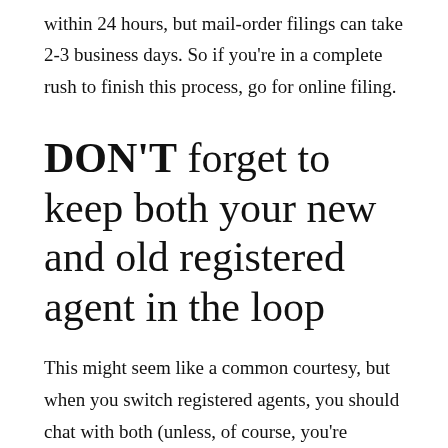within 24 hours, but mail-order filings can take 2-3 business days. So if you're in a complete rush to finish this process, go for online filing.
DON'T forget to keep both your new and old registered agent in the loop
This might seem like a common courtesy, but when you switch registered agents, you should chat with both (unless, of course, you're serving as your own agent). Obviously, you'll talk with your new agent to let them know you'll require their services. Plus, you'll have to get his or her